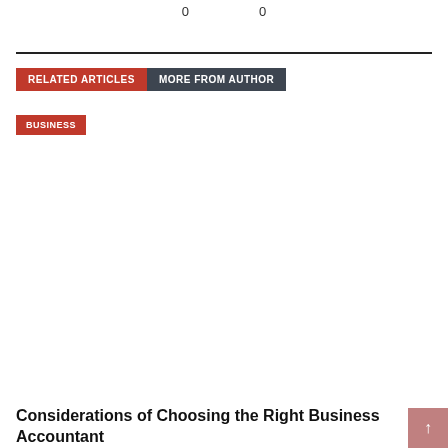0   0
RELATED ARTICLES   MORE FROM AUTHOR
BUSINESS
Considerations of Choosing the Right Business Accountant